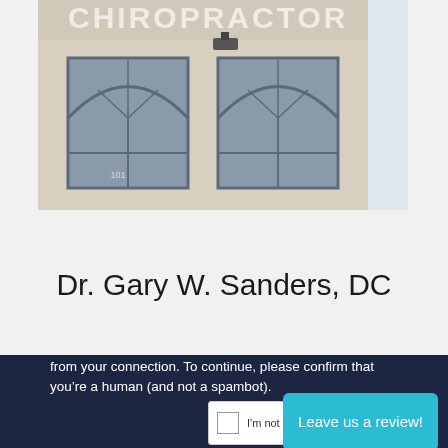[Figure (photo): Exterior photo of a chiropractic office building with arched windows and large lettering reading CHIROPRACTOR on the facade. A white/light blue panel is visible on the right side.]
Dr. Gary W. Sanders, DC
from your connection. To continue, please confirm that you’re a human (and not a spambot).
[Figure (screenshot): reCAPTCHA widget with checkbox and 'I'm not a robot' label]
Leave us a review!
reCAPTCHA Privacy Terms